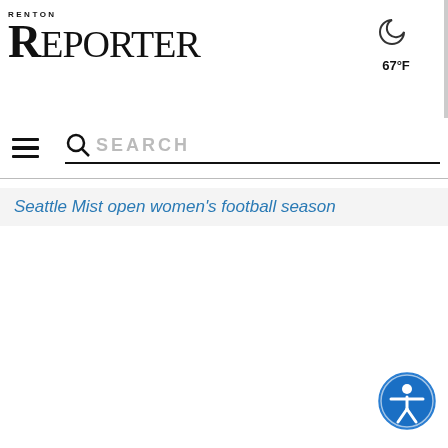Renton Reporter
[Figure (illustration): Weather icon: crescent moon for night, showing 67°F]
67°F
[Figure (illustration): Hamburger menu icon (three horizontal lines)]
SEARCH
Seattle Mist open women's football season
[Figure (illustration): Accessibility/wheelchair icon button, blue circle]